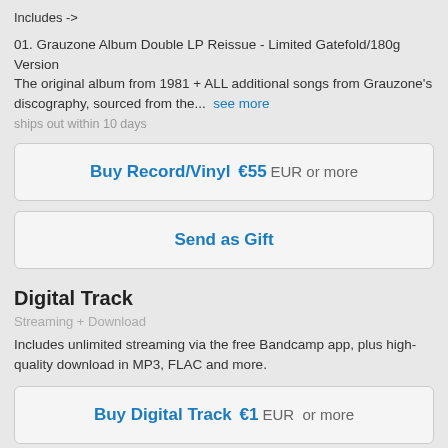Includes ->
01. Grauzone Album Double LP Reissue - Limited Gatefold/180g Version The original album from 1981 + ALL additional songs from Grauzone's discography, sourced from the... see more
ships out within 10 days
Buy Record/Vinyl  €55  EUR or more
Send as Gift
Digital Track
Streaming + Download
Includes unlimited streaming via the free Bandcamp app, plus high-quality download in MP3, FLAC and more.
Buy Digital Track  €1  EUR  or more
Send as Gift